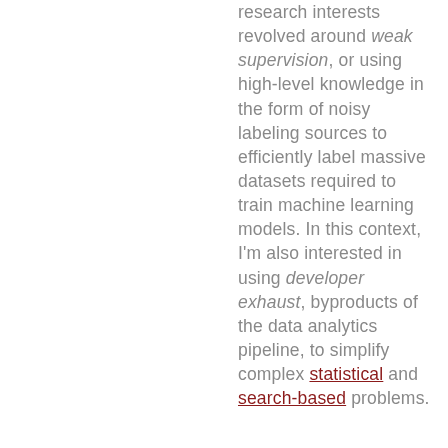research interests revolved around weak supervision, or using high-level knowledge in the form of noisy labeling sources to efficiently label massive datasets required to train machine learning models. In this context, I'm also interested in using developer exhaust, byproducts of the data analytics pipeline, to simplify complex statistical and search-based problems.